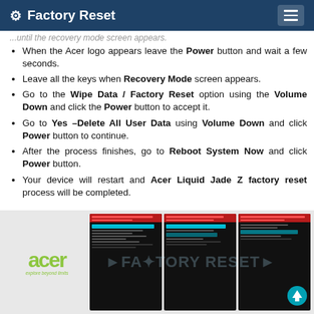⚙ Factory Reset
...until the recovery mode screen appears.
When the Acer logo appears leave the Power button and wait a few seconds.
Leave all the keys when Recovery Mode screen appears.
Go to the Wipe Data / Factory Reset option using the Volume Down and click the Power button to accept it.
Go to Yes –Delete All User Data using Volume Down and click Power button to continue.
After the process finishes, go to Reboot System Now and click Power button.
Your device will restart and Acer Liquid Jade Z factory reset process will be completed.
[Figure (screenshot): Three screenshots of Android recovery mode menus on a dark background, with Acer logo and 'FACTORY RESET' watermark text overlaid]